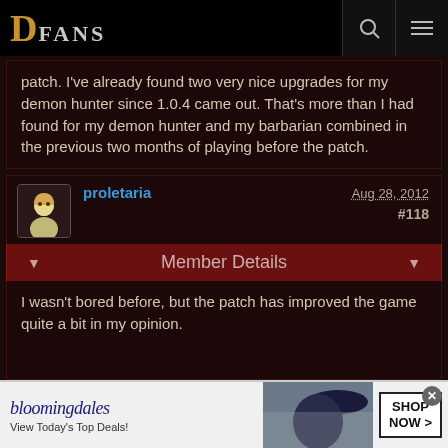DFANS
patch. I've already found two very nice upgrades for my demon hunter since 1.0.4 came out. That's more than I had found for my demon hunter and my barbarian combined in the previous two months of playing before the patch.
proletaria   Aug 28, 2012   #118
Member Details
I wasn't bored before, but the patch has improved the game quite a bit in my opinion.
Lohk   Aug 28, 2012   #1
[Figure (screenshot): Bloomingdale's advertisement banner: 'bloomingdales View Today's Top Deals! SHOP NOW >']